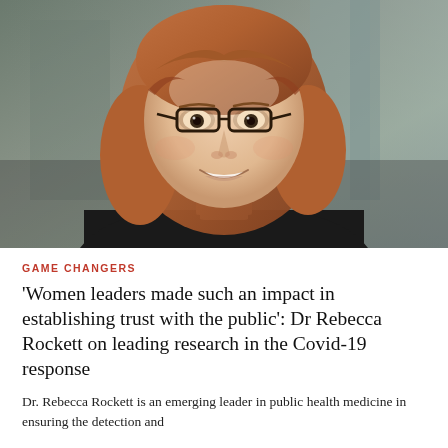[Figure (photo): Professional headshot of Dr. Rebecca Rockett, a woman with shoulder-length auburn hair wearing glasses and a black top, smiling, with a blurred architectural background.]
GAME CHANGERS
'Women leaders made such an impact in establishing trust with the public': Dr Rebecca Rockett on leading research in the Covid-19 response
Dr. Rebecca Rockett is an emerging leader in public health medicine in ensuring the detection and